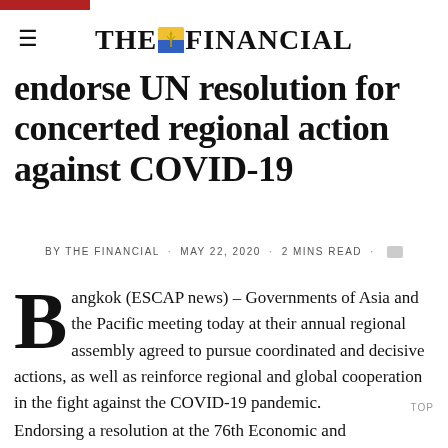THE FINANCIAL
endorse UN resolution for concerted regional action against COVID-19
BY THE FINANCIAL · MAY 22, 2020 · 2 MINS READ
Bangkok (ESCAP news) – Governments of Asia and the Pacific meeting today at their annual regional assembly agreed to pursue coordinated and decisive actions, as well as reinforce regional and global cooperation in the fight against the COVID-19 pandemic.
Endorsing a resolution at the 76th Economic and